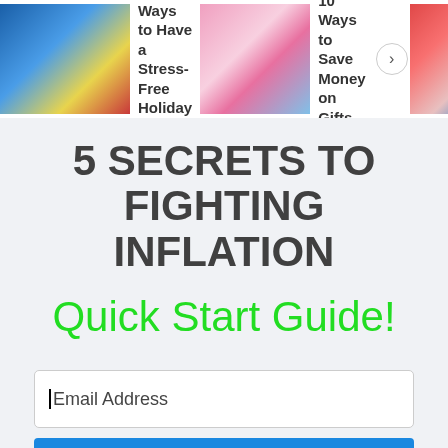[Figure (screenshot): Navigation bar with article thumbnails: '16 Ways to Have a Stress-Free Holiday Season', '10 Ways to Save Money on Gifts', and a partially visible third article. A forward arrow button is visible between items.]
5 SECRETS TO FIGHTING INFLATION
Quick Start Guide!
Email Address